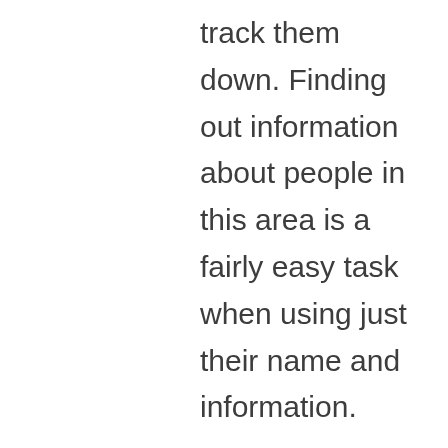track them down. Finding out information about people in this area is a fairly easy task when using just their name and information.

If you’re looking for more detailed information and have access to lots of names of people then it’s wise to check out the online marriage records in Michigan. You can search using just one name and many times you can find additional information. If you have any other information like the state that the marriage took place in or the reason for the divorce, then